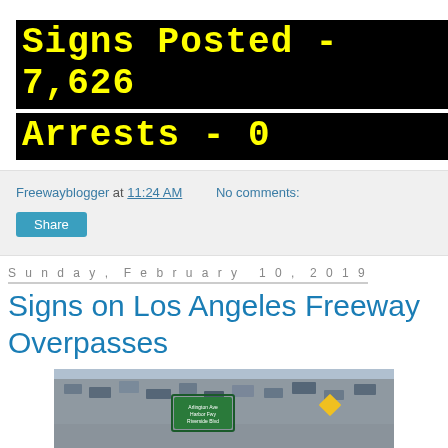Signs Posted - 7,626 Arrests - 0
Freewayblogger at 11:24 AM   No comments:
Share
Sunday, February 10, 2019
Signs on Los Angeles Freeway Overpasses
[Figure (photo): Aerial view of Los Angeles freeway overpass with heavy traffic and signs reading 'Collusion.' and 'Lots of it']